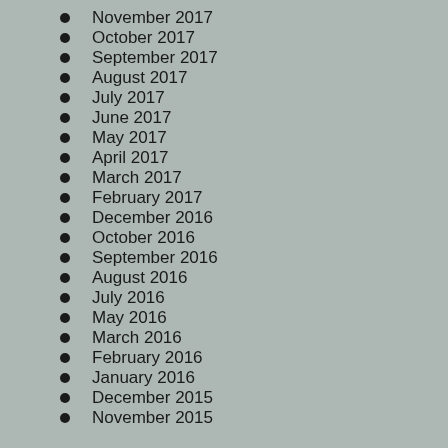November 2017
October 2017
September 2017
August 2017
July 2017
June 2017
May 2017
April 2017
March 2017
February 2017
December 2016
October 2016
September 2016
August 2016
July 2016
May 2016
March 2016
February 2016
January 2016
December 2015
November 2015